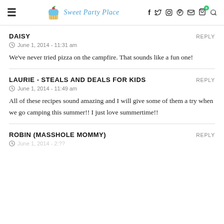Sweet Party Place — navigation header with social icons
DAISY
June 1, 2014 - 11:31 am
We've never tried pizza on the campfire. That sounds like a fun one!
LAURIE - STEALS AND DEALS FOR KIDS
June 1, 2014 - 11:49 am
All of these recipes sound amazing and I will give some of them a try when we go camping this summer!! I just love summertime!!
ROBIN (MASSHOLE MOMMY)